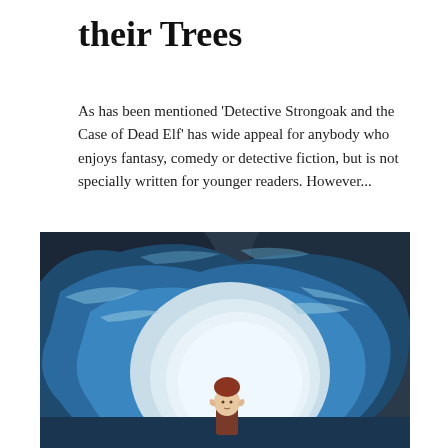their Trees
As has been mentioned  'Detective Strongoak and the Case of Dead Elf' has wide appeal for anybody who enjoys fantasy, comedy or detective fiction, but is not specially written for younger readers. However...
[Figure (photo): A LEGO or toy elf figurine with red/brown hair and pointed ears standing in front of a large blue ocean wave curling overhead, creating a tunnel effect. The image has dramatic blue and white tones.]